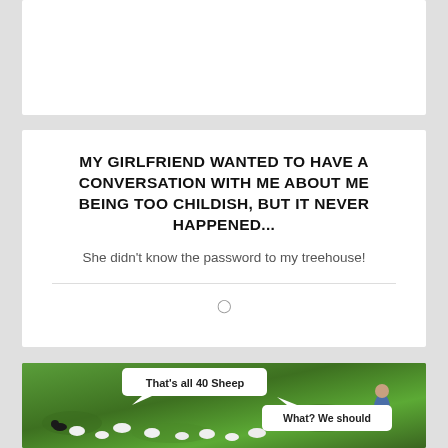[Figure (other): Partially visible white card at top of page (content not readable)]
MY GIRLFRIEND WANTED TO HAVE A CONVERSATION WITH ME ABOUT ME BEING TOO CHILDISH, BUT IT NEVER HAPPENED...
She didn't know the password to my treehouse!
[Figure (photo): Meme image showing a green grass field with sheep, a border collie dog, and a shepherd. Speech bubble from dog says 'That's all 40 Sheep' and from shepherd says 'What? We should...']